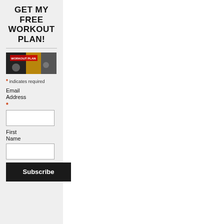GET MY FREE WORKOUT PLAN!
[Figure (photo): Workout photo showing exercise equipment and people working out, with red text overlay]
* indicates required
Email Address
* (email input field)
First Name
(first name input field)
Subscribe